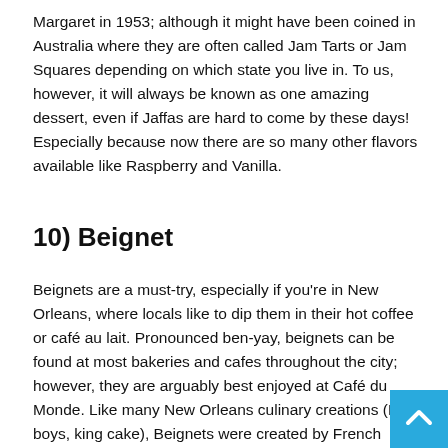Margaret in 1953; although it might have been coined in Australia where they are often called Jam Tarts or Jam Squares depending on which state you live in. To us, however, it will always be known as one amazing dessert, even if Jaffas are hard to come by these days! Especially because now there are so many other flavors available like Raspberry and Vanilla.
10) Beignet
Beignets are a must-try, especially if you're in New Orleans, where locals like to dip them in their hot coffee or café au lait. Pronounced ben-yay, beignets can be found at most bakeries and cafes throughout the city; however, they are arguably best enjoyed at Café du Monde. Like many New Orleans culinary creations (PO-boys, king cake), Beignets were created by French settlers as a way to utilize leftover bread dough by frying it up and sprinkling it with powdered sugar. Unlike most